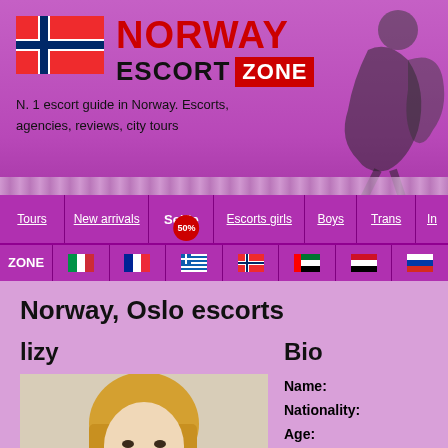NORWAY ESCORT ZONE - N. 1 escort guide in Norway. Escorts, agencies, reviews, city tours
Tours | New arrivals | Selfie 50% | Escorts girls | Boys | Trans | I...
Norway, Oslo escorts
lizy
[Figure (photo): Profile photo of a blonde woman taking a selfie with a phone]
| Field | Value |
| --- | --- |
| Name: |  |
| Nationality: |  |
| Age: |  |
| Height: |  |
| Weight: |  |
| Bust size: |  |